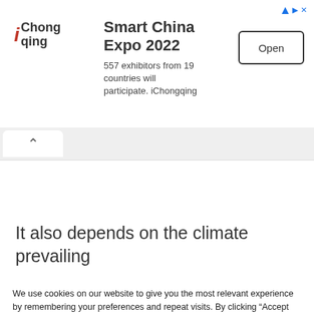[Figure (screenshot): iChongqing advertisement banner for Smart China Expo 2022 with logo, text, and Open button]
Smart China Expo 2022
557 exhibitors from 19 countries will participate. iChongqing
It also depends on the climate prevailing
We use cookies on our website to give you the most relevant experience by remembering your preferences and repeat visits. By clicking “Accept All”, you consent to the use of ALL the cookies. However, you may visit "Cookie Settings" to provide a controlled consent.